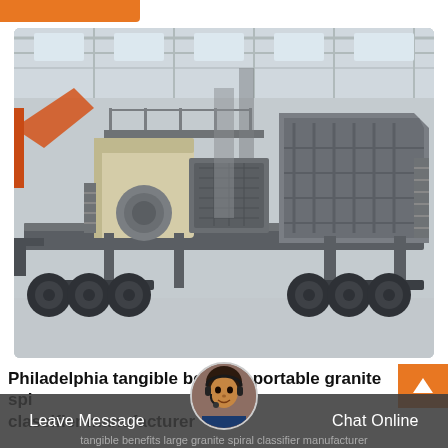[Figure (photo): Large mobile jaw crusher machine on a flatbed trailer inside an industrial warehouse/factory hall. The machine is gray with a beige/cream colored jaw unit. Factory has metal roof structure and concrete floor.]
Philadelphia tangible benefits portable granite spiral classifier manufacturer
Leave Message
Chat Online
tangible benefits large granite spiral classifier manufacturer